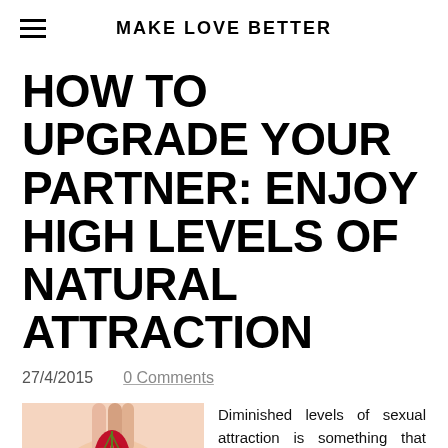MAKE LOVE BETTER
HOW TO UPGRADE YOUR PARTNER: ENJOY HIGH LEVELS OF NATURAL ATTRACTION
27/4/2015   0 Comments
[Figure (photo): Person holding red currant berries near their face]
Diminished levels of sexual attraction is something that many people experience, especially in long-term relationships. Even people who married the perfect 10